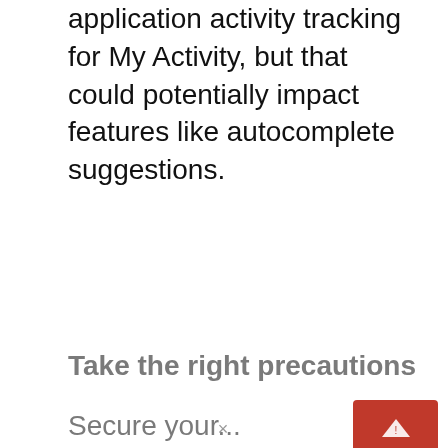application activity tracking for My Activity, but that could potentially impact features like autocomplete suggestions.
Take the right precautions
Secure your...